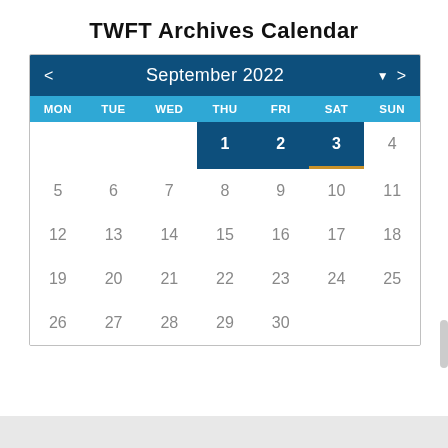TWFT Archives Calendar
[Figure (other): Calendar widget showing September 2022. Navigation arrows on left and right. Days of week header: MON, TUE, WED, THU, FRI, SAT, SUN. September 1, 2 highlighted in dark blue (THU, FRI). September 3 highlighted with gold underline (SAT, today). Remaining days 4-30 shown in grey. Days 26-30 in last row.]